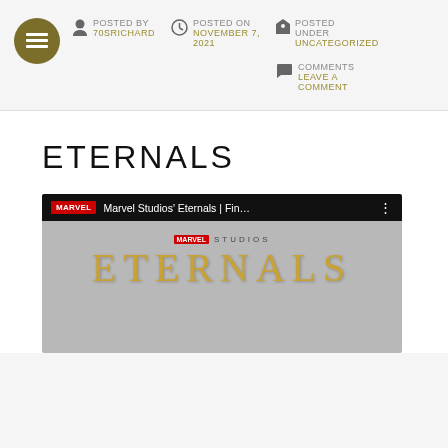POSTED BY 70SRICHARD | POSTED ON NOVEMBER 7, 2021 | POSTED UNDER UNCATEGORIZED | COMMENTS LEAVE A COMMENT
ETERNALS
[Figure (screenshot): YouTube video embed showing Marvel Studios' Eternals final trailer, with MARVEL logo badge, video title 'Marvel Studios' Eternals | Fin...' and Marvel Studios / ETERNALS title card thumbnail]